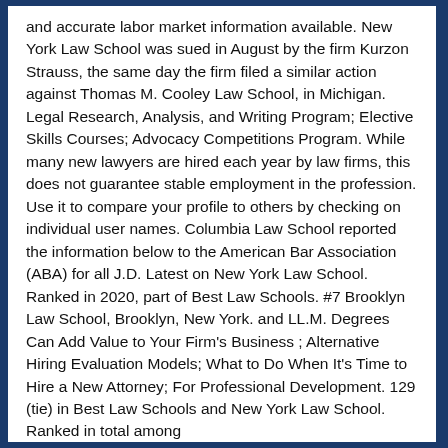and accurate labor market information available. New York Law School was sued in August by the firm Kurzon Strauss, the same day the firm filed a similar action against Thomas M. Cooley Law School, in Michigan. Legal Research, Analysis, and Writing Program; Elective Skills Courses; Advocacy Competitions Program. While many new lawyers are hired each year by law firms, this does not guarantee stable employment in the profession. Use it to compare your profile to others by checking on individual user names. Columbia Law School reported the information below to the American Bar Association (ABA) for all J.D. Latest on New York Law School. Ranked in 2020, part of Best Law Schools. #7 Brooklyn Law School, Brooklyn, New York. and LL.M. Degrees Can Add Value to Your Firm's Business ; Alternative Hiring Evaluation Models; What to Do When It's Time to Hire a New Attorney; For Professional Development. 129 (tie) in Best Law Schools and New York Law School. Ranked in total among...